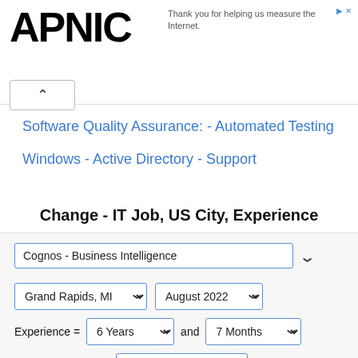[Figure (logo): APNIC logo in large bold black text]
Thank you for helping us measure the Internet.
Software Quality Assurance: - Automated Testing
Windows - Active Directory - Support
Change - IT Job, US City, Experience
Cognos - Business Intelligence [dropdown]
Grand Rapids, MI [dropdown]   August 2022 [dropdown]
Experience = 6 Years [dropdown] and 7 Months [dropdown]
Change Selection   View Salary Report [button]